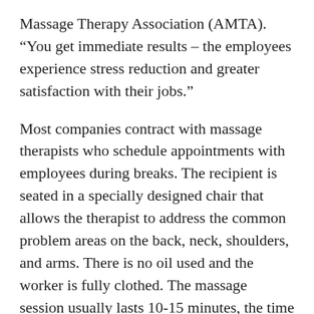Massage Therapy Association (AMTA). “You get immediate results – the employees experience stress reduction and greater satisfaction with their jobs.”
Most companies contract with massage therapists who schedule appointments with employees during breaks. The recipient is seated in a specially designed chair that allows the therapist to address the common problem areas on the back, neck, shoulders, and arms. There is no oil used and the worker is fully clothed. The massage session usually lasts 10-15 minutes, the time for a coffee break.
Dollar for dollar, massage is a very inexpensive